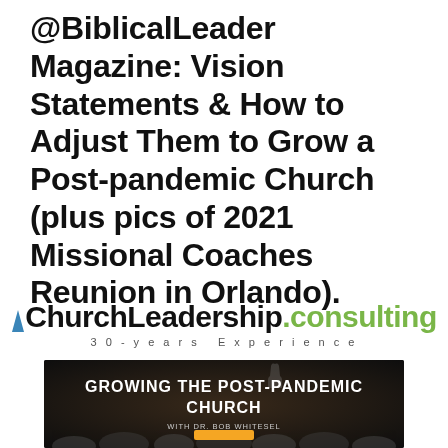@BiblicalLeader Magazine: Vision Statements & How to Adjust Them to Grow a Post-pandemic Church (plus pics of 2021 Missional Coaches Reunion in Orlando).
[Figure (logo): ChurchLeadership.consulting logo with blue steeple icon above 'Church', bold black 'ChurchLeadership' text, green '.consulting' text, and '30-years Experience' tagline below]
[Figure (photo): Dark promotional image with crowd silhouette and hands raised, text 'GROWING THE POST-PANDEMIC CHURCH' in white, 'WITH DR. BOB WHITESEL' below, and an orange button at the bottom]